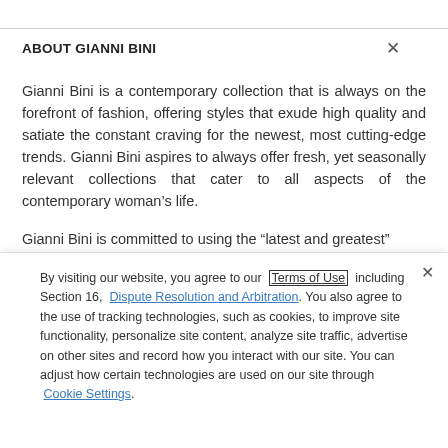ABOUT GIANNI BINI
Gianni Bini is a contemporary collection that is always on the forefront of fashion, offering styles that exude high quality and satiate the constant craving for the newest, most cutting-edge trends. Gianni Bini aspires to always offer fresh, yet seasonally relevant collections that cater to all aspects of the contemporary woman’s life.
Gianni Bini is committed to using the “latest and greatest”
By visiting our website, you agree to our Terms of Use including Section 16, Dispute Resolution and Arbitration. You also agree to the use of tracking technologies, such as cookies, to improve site functionality, personalize site content, analyze site traffic, advertise on other sites and record how you interact with our site. You can adjust how certain technologies are used on our site through Cookie Settings.